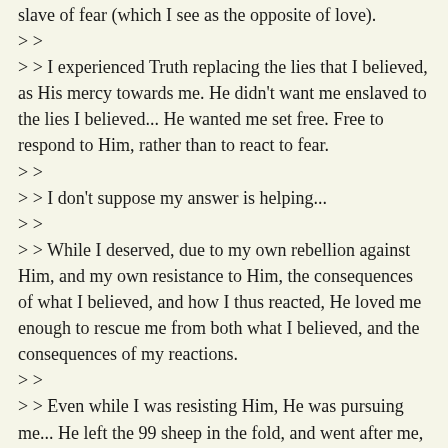slave of fear (which I see as the opposite of love).
> >
> > I experienced Truth replacing the lies that I believed, as His mercy towards me. He didn't want me enslaved to the lies I believed... He wanted me set free. Free to respond to Him, rather than to react to fear.
> >
> > I don't suppose my answer is helping...
> >
> > While I deserved, due to my own rebellion against Him, and my own resistance to Him, the consequences of what I believed, and how I thus reacted, He loved me enough to rescue me from both what I believed, and the consequences of my reactions.
> >
> > Even while I was resisting Him, He was pursuing me... He left the 99 sheep in the fold, and went after me, the one who was lost ... and He continued to pursue me until I was found.
> >
> > I've come to believe that love, and not fear, is the most powerful motivation in the universe... but that fear is the most common motivation in effect on this planet.